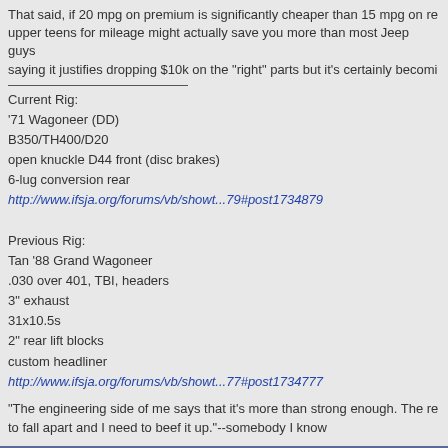That said, if 20 mpg on premium is significantly cheaper than 15 mpg on re... upper teens for mileage might actually save you more than most Jeep guys... saying it justifies dropping $10k on the "right" parts but it's certainly becomi...
Current Rig:
'71 Wagoneer (DD)
B350/TH400/D20
open knuckle D44 front (disc brakes)
6-lug conversion rear
http://www.ifsja.org/forums/vb/showt...79#post1734879

Previous Rig:
Tan '88 Grand Wagoneer
.030 over 401, TBI, headers
3" exhaust
31x10.5s
2" rear lift blocks
custom headliner
http://www.ifsja.org/forums/vb/showt...77#post1734777
"The engineering side of me says that it's more than strong enough. The re... to fall apart and I need to beef it up."--somebody I know
06-06-2022, 09:45 AM
devildog80
258 I6
★★